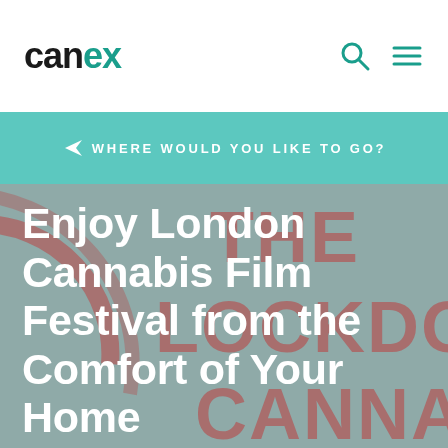canex
WHERE WOULD YOU LIKE TO GO?
[Figure (photo): Hero image of the London Cannabis Film Festival logo (The Lockdown Cannabis) in muted red/pink on a grey-green background]
Enjoy London Cannabis Film Festival from the Comfort of Your Home